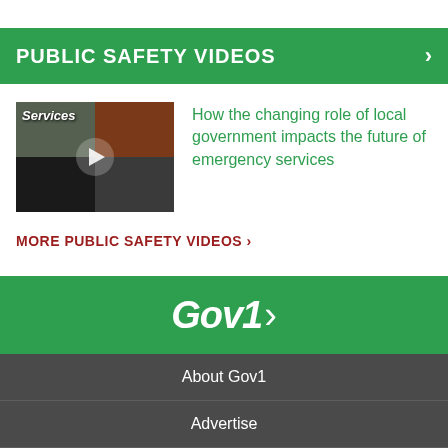PUBLIC SAFETY VIDEOS
[Figure (screenshot): Video thumbnail showing emergency services montage with play button overlay and 'Services' label]
How the changing role of local government impacts the future of emergency services
MORE PUBLIC SAFETY VIDEOS ›
[Figure (logo): Gov1 logo in italic white bold text with arrow chevron on green background]
About Gov1
Advertise
Contact Us